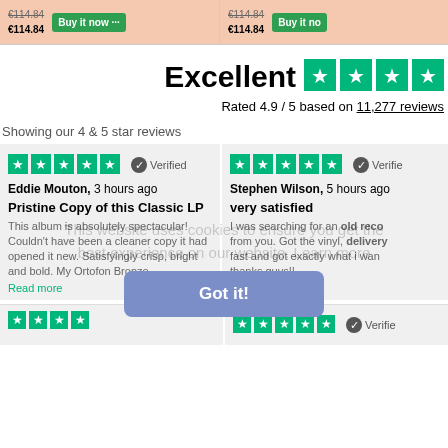€114.84
€114.84 | Buy it now | €114.84
€114.84 | Buy it now
Excellent ★★★★★
Rated 4.9 / 5 based on 11,277 reviews
Showing our 4 & 5 star reviews
Eddie Mouton, 3 hours ago
Pristine Copy of this Classic LP
This album is absolutely spectacular! Couldn't have been a cleaner copy it had opened it new. Satisfyingly crisp, bright and bold. My Ortofon Bronze
Read more
Stephen Wilson, 5 hours ago
very satisfied
I was searching for an old record... delivery fast and got exactly what i want thanks guys!! Cheers Steve.
This website uses cookies to ensure you get the best experience on our website. Learn more
Got it!
Verified (bottom left card)
Verified (bottom right card)